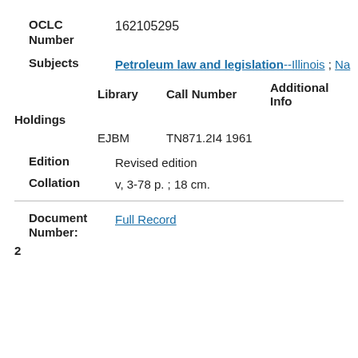OCLC Number: 162105295
Subjects: Petroleum law and legislation--Illinois ; Na
| Library | Call Number | Additional Info |
| --- | --- | --- |
| EJBM | TN871.2I4 1961 |  |
Holdings
Edition: Revised edition
Collation: v, 3-78 p. ; 18 cm.
Document Number: Full Record 2